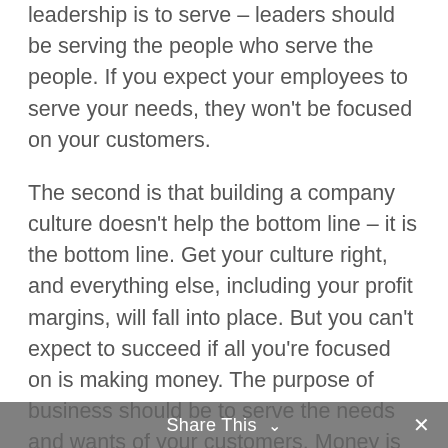leadership is to serve – leaders should be serving the people who serve the people. If you expect your employees to serve your needs, they won't be focused on your customers.
The second is that building a company culture doesn't help the bottom line – it is the bottom line. Get your culture right, and everything else, including your profit margins, will fall into place. But you can't expect to succeed if all you're focused on is making money. The purpose of business should be to serve the needs and wants of your customers. Money is always the reward for good service, it is never the purpose of business.
Share This ∨  ✕